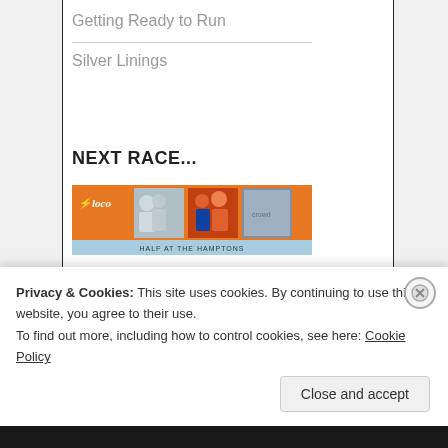Getting Ready to Run
Silver Linings
NEXT RACE...
[Figure (other): Orange banner image for 'Half at the Hamptons' race with runner photos and logo]
AFFILIATIONS
Privacy & Cookies: This site uses cookies. By continuing to use this website, you agree to their use.
To find out more, including how to control cookies, see here: Cookie Policy
Close and accept